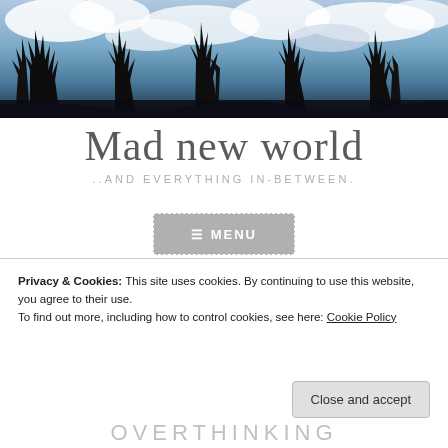[Figure (photo): Black silhouettes of bare winter trees against a dramatic cloudy blue sky, wide panoramic banner image]
Mad new world
..AND EVERYTHING IN-BETWEEN.
≡ MENU
Privacy & Cookies: This site uses cookies. By continuing to use this website, you agree to their use.
To find out more, including how to control cookies, see here: Cookie Policy
Close and accept
OVERTHINKING